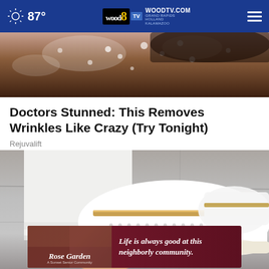87° WOODTV.COM GRAND RAPIDS HOLLAND KALAMAZOO wood 8 TV
[Figure (photo): Close-up photo of skin with water droplets]
Doctors Stunned: This Removes Wrinkles Like Crazy (Try Tonight)
Rejuvalift
[Figure (photo): Close-up photo of person wearing white perforated slip-on shoes with tan/gold stripe detail, white jeans, dark pavement background. Dark circle close button overlay.]
[Figure (photo): Rose Garden advertisement banner - 'Life is always good at this neighborly community.' Rose Garden A Sunset Senior Community]